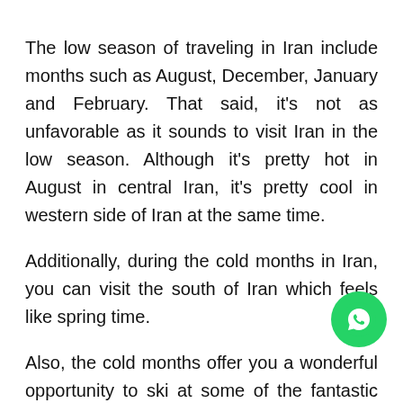The low season of traveling in Iran include months such as August, December, January and February. That said, it's not as unfavorable as it sounds to visit Iran in the low season. Although it's pretty hot in August in central Iran, it's pretty cool in western side of Iran at the same time.
Additionally, during the cold months in Iran, you can visit the south of Iran which feels like spring time.
Also, the cold months offer you a wonderful opportunity to ski at some of the fantastic ski resorts in Iran. Last but not least, you can book